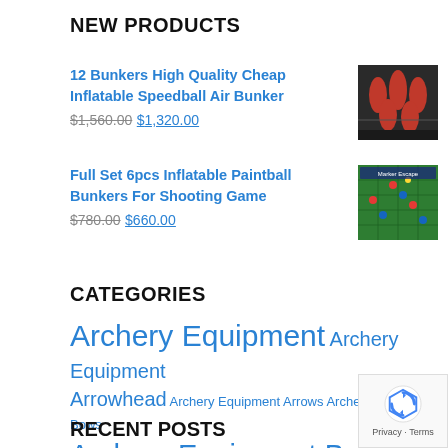NEW PRODUCTS
12 Bunkers High Quality Cheap Inflatable Speedball Air Bunker
$1,560.00 $1,320.00
Full Set 6pcs Inflatable Paintball Bunkers For Shooting Game
$780.00 $660.00
CATEGORIES
Archery Equipment Archery Equipment Arrowhead Archery Equipment Arrows Archery Equipment Bows Archery Equipment Bunkers Archery Equipment Masks Foot Dart
RECENT POSTS